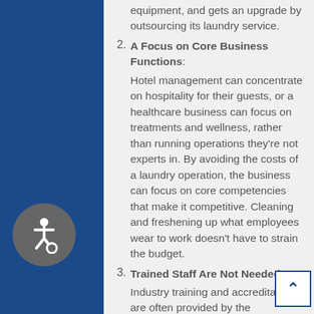equipment, and gets an upgrade by outsourcing its laundry service.
A Focus on Core Business Functions: Hotel management can concentrate on hospitality for their guests, or a healthcare business can focus on treatments and wellness, rather than running operations they're not experts in. By avoiding the costs of a laundry operation, the business can focus on core competencies that make it competitive. Cleaning and freshening up what employees wear to work doesn't have to strain the budget.
Trained Staff Are Not Needed: Industry training and accreditation are often provided by the Association for Linen Management. The people employed by a reputable provider